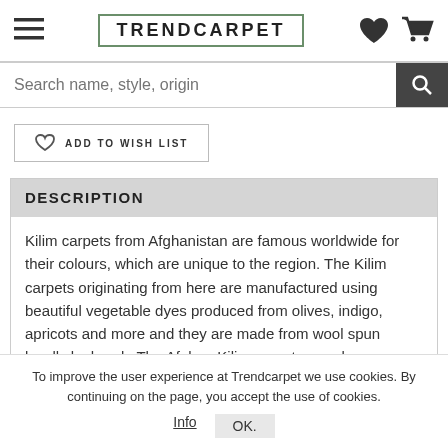TRENDCARPET
Search name, style, origin
ADD TO WISH LIST
DESCRIPTION
Kilim carpets from Afghanistan are famous worldwide for their colours, which are unique to the region. The Kilim carpets originating from here are manufactured using beautiful vegetable dyes produced from olives, indigo, apricots and more and they are made from wool spun locally by hand.  The Afghan Kilim carpets are also
To improve the user experience at Trendcarpet we use cookies. By continuing on the page, you accept the use of cookies.